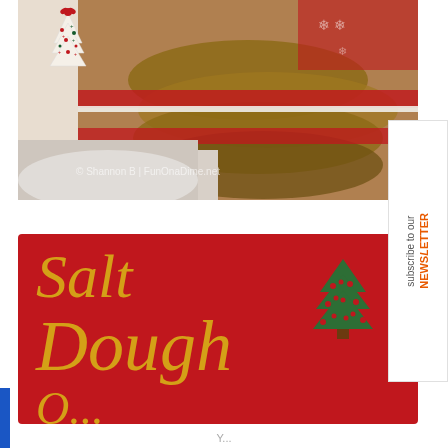[Figure (photo): Christmas photo showing a burlap and red ruffle tree skirt with wrapped presents. A decorative white Christmas tree illustration with red bow is visible in upper left. Watermark reads: Shannon B | FunOnaDime.net]
[Figure (illustration): Red card with gold italic script text reading 'Salt Dough' and a green Christmas tree with red dots on the right side. Bottom partially shows additional script text.]
[Figure (illustration): Sidebar on right with rotated text reading 'subscribe to our NEWSLETTER' in grey and orange.]